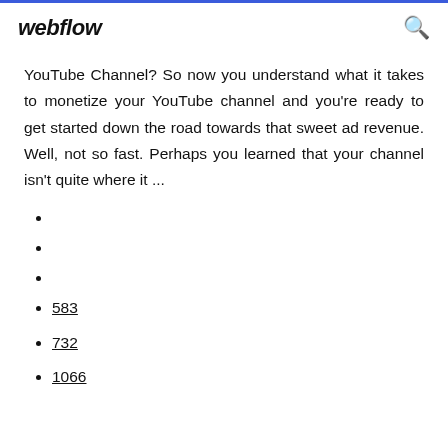webflow
YouTube Channel? So now you understand what it takes to monetize your YouTube channel and you're ready to get started down the road towards that sweet ad revenue. Well, not so fast. Perhaps you learned that your channel isn't quite where it ...
583
732
1066